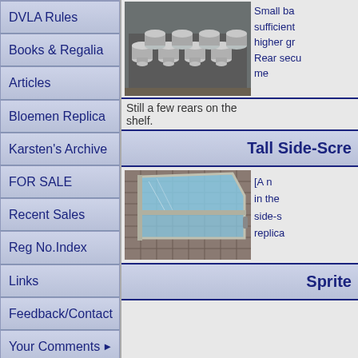DVLA Rules
Books & Regalia
Articles
Bloemen Replica
Karsten's Archive
FOR SALE
Recent Sales
Reg No.Index
Links
Feedback/Contact
Your Comments
[Figure (photo): Small machined aluminium parts (flanged cylinders) arranged on a surface]
Still a few rears on the shelf.
Small ba... sufficient... higher gr... Rear secu... me...
Tall Side-Scre
[Figure (photo): A car side screen / window with polished aluminium frame and clear perspex]
[A n... in the... side-s... replica...
Sprite